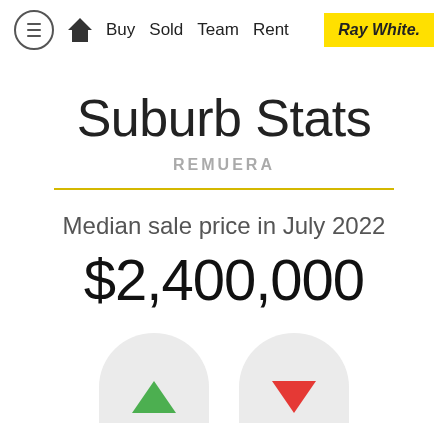Buy Sold Team Rent | Ray White.
Suburb Stats
REMUERA
Median sale price in July 2022
$2,400,000